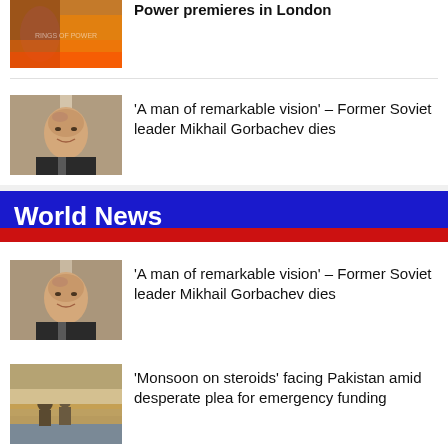[Figure (photo): Fantasy battle scene with armored warriors and fire - The Rings of Power]
Power premieres in London
[Figure (photo): Portrait of Mikhail Gorbachev smiling]
'A man of remarkable vision' – Former Soviet leader Mikhail Gorbachev dies
World News
[Figure (photo): Portrait of Mikhail Gorbachev smiling]
'A man of remarkable vision' – Former Soviet leader Mikhail Gorbachev dies
[Figure (photo): People in floodwaters in Pakistan]
'Monsoon on steroids' facing Pakistan amid desperate plea for emergency funding